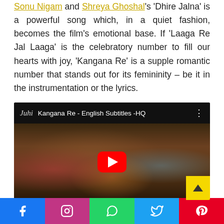Sonu Nigam and Shreya Ghoshal's 'Dhire Jalna' is a powerful song which, in a quiet fashion, becomes the film's emotional base. If 'Laaga Re Jal Laaga' is the celebratory number to fill our hearts with joy, 'Kangana Re' is a supple romantic number that stands out for its femininity – be it in the instrumentation or the lyrics.
[Figure (screenshot): Embedded YouTube video thumbnail showing 'Kangana Re - English Subtitles -HQ' with a crowd dancing scene and red YouTube play button. Channel logo 'Juhi' shown in top left.]
[Figure (infographic): Social media sharing bar with icons for Facebook, Instagram, WhatsApp, Twitter, and Pinterest]